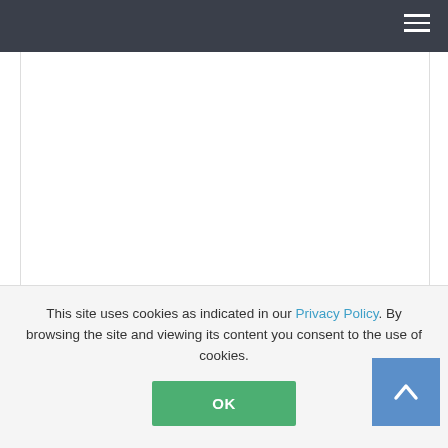Navigation bar with hamburger menu
[Figure (photo): Product image area for CBP-100 Multiview processor (white/blank area)]
CBP-100 Multiview processor
SKU: 1524862
This site uses cookies as indicated in our Privacy Policy. By browsing the site and viewing its content you consent to the use of cookies.
OK